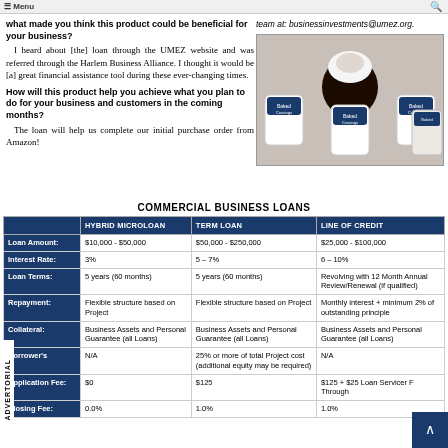Menu
what made you think this product could be beneficial for your business? I heard about [the] loan through the UMEZ website and was referred through the Harlem Business Alliance. I thought it would be [a] great financial assistance tool during these ever-changing times.
How will this product help you achieve what you plan to do for your business and customers in the coming months? The loan will help us complete our initial purchase order from Amazon!
team at: businessinvestments@umez.org.
[Figure (photo): Photo of Baked Cravings products - cupcakes and jars of baked goods arranged together]
COMMERCIAL BUSINESS LOANS
|  | HYBRID MICROLOAN | TERM LOAN | LINE OF CREDIT |
| --- | --- | --- | --- |
| Loan Amount: | $10,000 - $50,000 | $50,000 - $250,000 | $25,000 - $100,000 |
| Interest Rate: | 3% | 5 – 7% | 6 – 10% |
| Loan Terms: | 5 years (60 months) | 5 years (60 months) | Revolving with 12 Month Annual Review/Renewal (if qualified) |
| Repayment: | Flexible structure based on Project | Flexible structure based on Project | Monthly interest + minimum 2% of outstanding principle |
| Collateral: | Business Assets and Personal Guarantee (all Loans) | Business Assets and Personal Guarantee (all Loans) | Business Assets and Personal Guarantee (all Loans) |
| Borrower's | N/A | 25% or more of total Project cost (additional equity may be required) | N/A |
| Application Fee: | $0 | $125 | $125 + $25 Loan Servicer F Through |
| Closing Fee: | 0.0% | 1.0% | 1.0% |